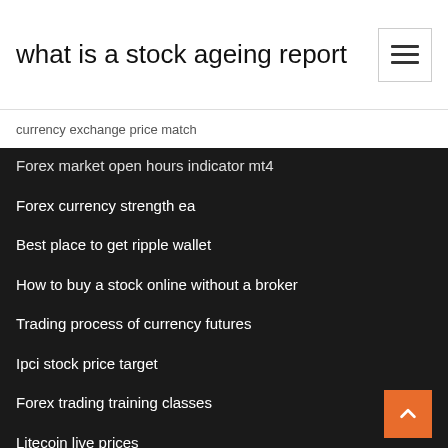what is a stock ageing report
currency exchange price match
Forex market open hours indicator mt4
Forex currency strength ea
Best place to get ripple wallet
How to buy a stock online without a broker
Trading process of currency futures
Ipci stock price target
Forex trading training classes
Litecoin live prices
Intel stock chart
Forex trading consolidation